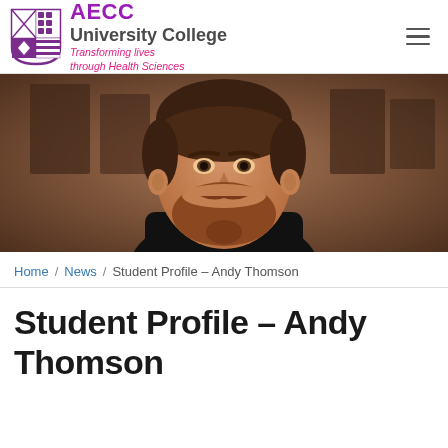AECC University College — Transforming lives through Health Sciences
[Figure (photo): Portrait photo of Andy Thomson, a bearded man smiling, wearing a black shirt, with a brick wall and framed pictures in the background]
Home / News / Student Profile – Andy Thomson
Student Profile – Andy Thomson